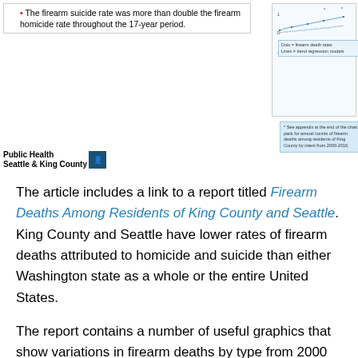[Figure (screenshot): Screenshot of a Public Health Seattle & King County chart page showing firearm death rates over time (2000-2016) with trend regression lines, legend, and annotation box.]
The firearm suicide rate was more than double the firearm homicide rate throughout the 17-year period.
The article includes a link to a report titled Firearm Deaths Among Residents of King County and Seattle. King County and Seattle have lower rates of firearm deaths attributed to homicide and suicide than either Washington state as a whole or the entire United States.
The report contains a number of useful graphics that show variations in firearm deaths by type from 2000 through 2016. Other graphics compare firearm death rates by age group, race/ethnicity, sex, and neighborhood poverty levels.
Of particular interest to GIS & You readers, this report also